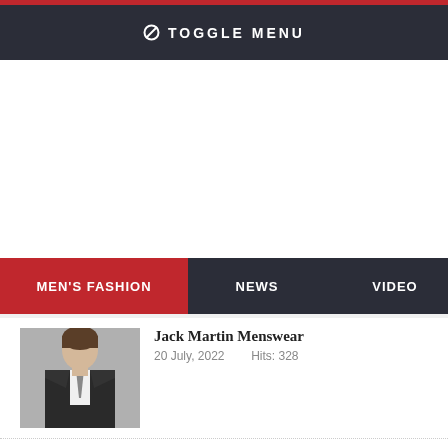⊘ TOGGLE MENU
MEN'S FASHION  NEWS  VIDEO
Jack Martin Menswear
20 July, 2022    Hits: 328
Pure London launched a newly designed website and campaign
28 April, 2022    Hits: 465